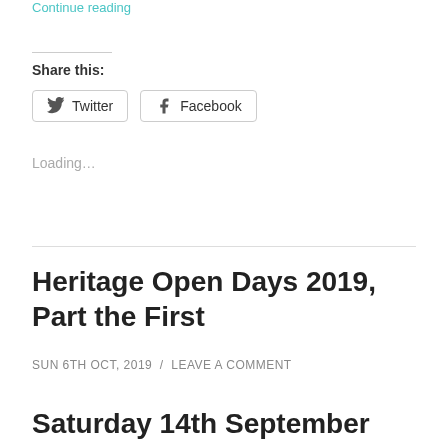Continue reading
Share this:
Twitter
Facebook
Loading...
Heritage Open Days 2019, Part the First
SUN 6TH OCT, 2019 / LEAVE A COMMENT
Saturday 14th September